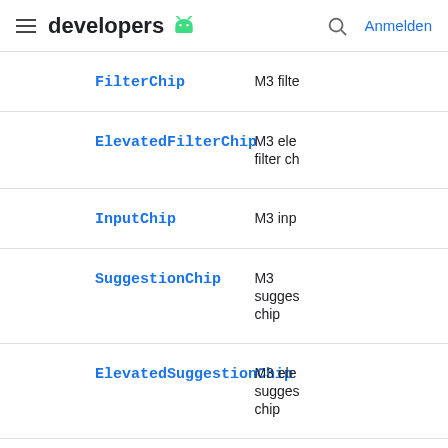developers (Android logo) | Anmelden
| Name | Description |
| --- | --- |
| FilterChip | M3 filte… |
| ElevatedFilterChip | M3 ele… filter ch… |
| InputChip | M3 inp… |
| SuggestionChip | M3 sugges… chip |
| ElevatedSuggestionChip | M3 ele… sugges… chip |